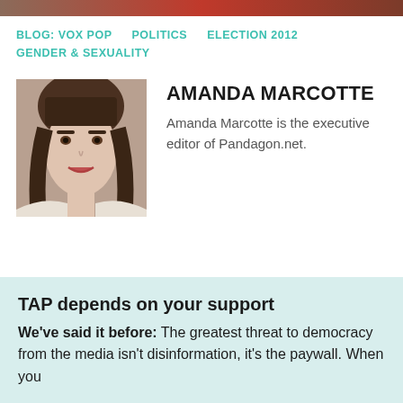[Figure (photo): Top banner image strip showing partial photo]
BLOG: VOX POP   POLITICS   ELECTION 2012   GENDER & SEXUALITY
[Figure (photo): Headshot of Amanda Marcotte, a woman with dark bangs and long brown hair]
AMANDA MARCOTTE
Amanda Marcotte is the executive editor of Pandagon.net.
TAP depends on your support
We've said it before: The greatest threat to democracy from the media isn't disinformation, it's the paywall. When you